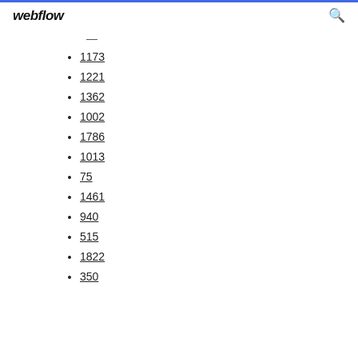webflow
1173
1221
1362
1002
1786
1013
75
1461
940
515
1822
350